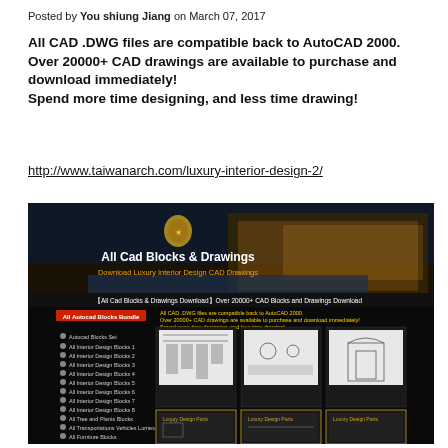Posted by You shiung Jiang on March 07, 2017
All CAD .DWG files are compatible back to AutoCAD 2000. Over 20000+ CAD drawings are available to purchase and download immediately! Spend more time designing, and less time drawing!
http://www.taiwanarch.com/luxury-interior-design-2/
[Figure (screenshot): Promotional banner/screenshot for 'All Cad Blocks & Drawings' website showing luxury interior design CAD drawings download page with thumbnail images of CAD blocks including Architectural decorative blocks, Architectural Finishes CAD blocks, Luxury Design Parts 1, and more.]